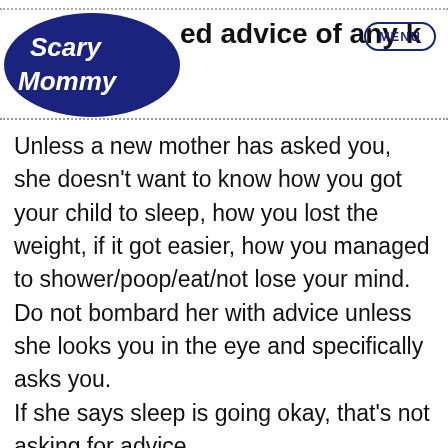Scary Mommy — ed advice of any k — MENU
Unless a new mother has asked you, she doesn't want to know how you got your child to sleep, how you lost the weight, if it got easier, how you managed to shower/poop/eat/not lose your mind. Do not bombard her with advice unless she looks you in the eye and specifically asks you.
If she says sleep is going okay, that's not asking for advice.
If she says she is having a hard time nursing,